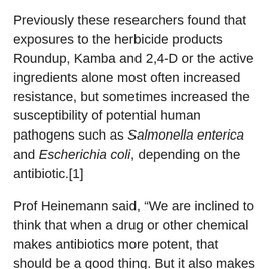Previously these researchers found that exposures to the herbicide products Roundup, Kamba and 2,4-D or the active ingredients alone most often increased resistance, but sometimes increased the susceptibility of potential human pathogens such as Salmonella enterica and Escherichia coli, depending on the antibiotic.[1]
Prof Heinemann said, “We are inclined to think that when a drug or other chemical makes antibiotics more potent, that should be a good thing. But it also makes the antibiotic more effective at promoting resistance when the antibiotic is at lower concentrations, as we more often find in the environment. Such combinations can be like trying to put out the raging fire of antibiotic resistance with gasoline.”
The authors concluded that neither reducing the use of antibiotics nor the discovery of new ones may be sufficient strategies to avoid the post-antibiotic era. This